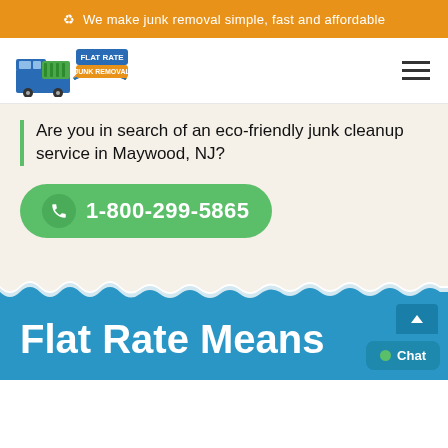♻ We make junk removal simple, fast and affordable
[Figure (logo): Flat Rate Junk Removal logo with truck and rainbow graphic]
Are you in search of an eco-friendly junk cleanup service in Maywood, NJ?
1-800-299-5865
Flat Rate Means